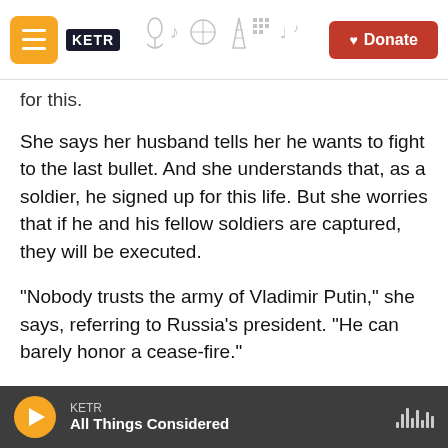KETR | Donate
for this.
She says her husband tells her he wants to fight to the last bullet. And she understands that, as a soldier, he signed up for this life. But she worries that if he and his fellow soldiers are captured, they will be executed.
"Nobody trusts the army of Vladimir Putin," she says, referring to Russia's president. "He can barely honor a cease-fire."
Russia has also sought to portray the Azovstal soldiers as far-right extremists. Some of the
KETR — All Things Considered